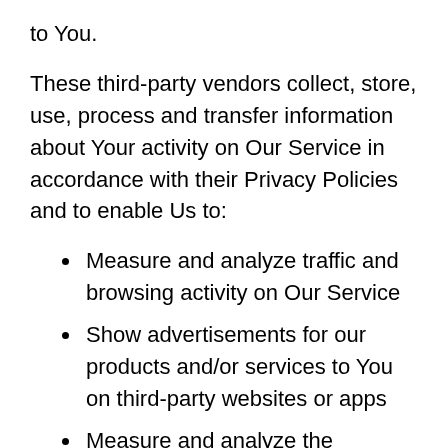to You.
These third-party vendors collect, store, use, process and transfer information about Your activity on Our Service in accordance with their Privacy Policies and to enable Us to:
Measure and analyze traffic and browsing activity on Our Service
Show advertisements for our products and/or services to You on third-party websites or apps
Measure and analyze the performance of Our advertising campaigns
Some of these third-party vendors may use non-cookie technologies that may not be impacted by browser settings that block cookies. Your browser may not permit